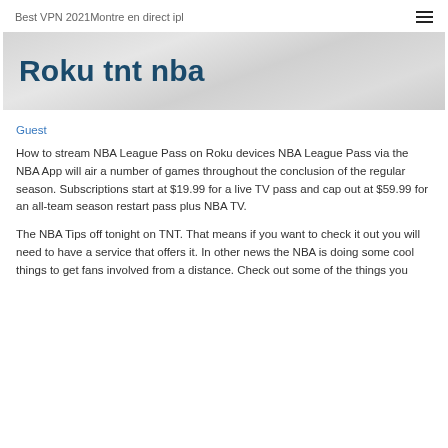Best VPN 2021Montre en direct ipl
Roku tnt nba
Guest
How to stream NBA League Pass on Roku devices NBA League Pass via the NBA App will air a number of games throughout the conclusion of the regular season. Subscriptions start at $19.99 for a live TV pass and cap out at $59.99 for an all-team season restart pass plus NBA TV.
The NBA Tips off tonight on TNT. That means if you want to check it out you will need to have a service that offers it. In other news the NBA is doing some cool things to get fans involved from a distance. Check out some of the things you